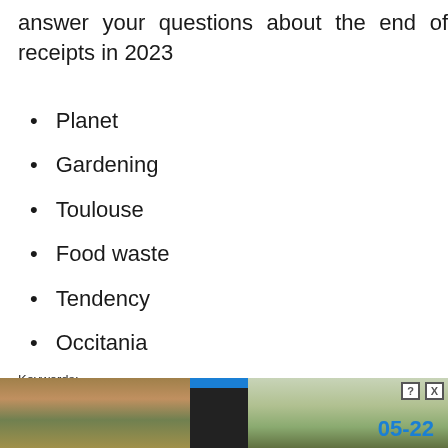answer your questions about the end of receipts in 2023
Planet
Gardening
Toulouse
Food waste
Tendency
Occitania
Keywords:
Source: 20minf
[Figure (screenshot): Advertisement overlay with 'Hold and Move' app icon, Close X button, question mark box, and partial date '05-22' visible, with nature/forest photo background]